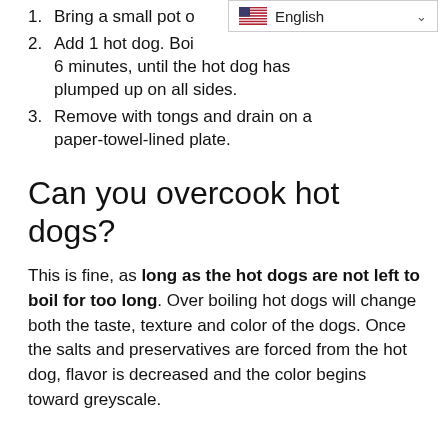1. Bring a small pot o[f water to a boil.]
2. Add 1 hot dog. Boil [for about] 6 minutes, until the hot dog has plumped up on all sides.
3. Remove with tongs and drain on a paper-towel-lined plate.
Can you overcook hot dogs?
This is fine, as long as the hot dogs are not left to boil for too long. Over boiling hot dogs will change both the taste, texture and color of the dogs. Once the salts and preservatives are forced from the hot dog, flavor is decreased and the color begins toward greyscale.